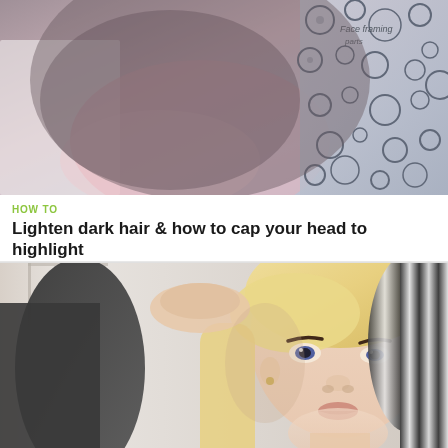[Figure (photo): Close-up image of a highlighting cap with bubble/circle pattern print and text 'Face framing parts' visible on the cap material, shown against a hair salon background.]
HOW TO
Lighten dark hair & how to cap your head to highlight
[Figure (photo): Young woman with long blonde highlighted hair posing for a selfie in a mirror, wearing a black and white striped jacket, with one hand raised to her head.]